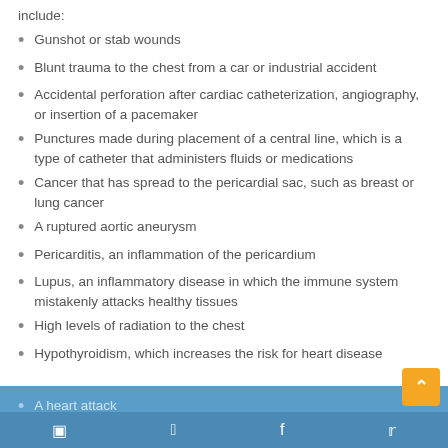include:
Gunshot or stab wounds
Blunt trauma to the chest from a car or industrial accident
Accidental perforation after cardiac catheterization, angiography, or insertion of a pacemaker
Punctures made during placement of a central line, which is a type of catheter that administers fluids or medications
Cancer that has spread to the pericardial sac, such as breast or lung cancer
A ruptured aortic aneurysm
Pericarditis, an inflammation of the pericardium
Lupus, an inflammatory disease in which the immune system mistakenly attacks healthy tissues
High levels of radiation to the chest
Hypothyroidism, which increases the risk for heart disease
A heart attack
Kidney failure